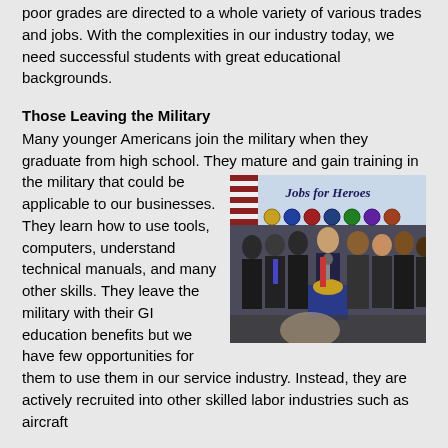poor grades are directed to a whole variety of various trades and jobs. With the complexities in our industry today, we need successful students with great educational backgrounds.
Those Leaving the Military
Many younger Americans join the military when they graduate from high school. They mature
[Figure (photo): Group of men in suits standing at a podium with a banner reading 'Jobs for Heroes' with military branch seals, at an official press conference.]
and gain training in the military that could be applicable to our businesses. They learn how to use tools, computers, understand technical manuals, and many other skills. They leave the military with their GI education benefits but we have few opportunities for them to use them in our service industry. Instead, they are actively recruited into other skilled labor industries such as aircraft